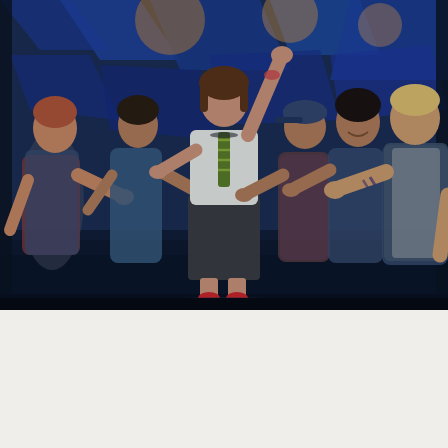[Figure (photo): A theatrical stage performance scene. A young woman in a white school shirt and green striped tie with a dark pleated skirt stands center stage with one arm raised triumphantly. She is surrounded by five young men in casual/denim clothing who are clapping or gesturing toward her in celebration. The background features a blue geometric set design with stage lighting.]